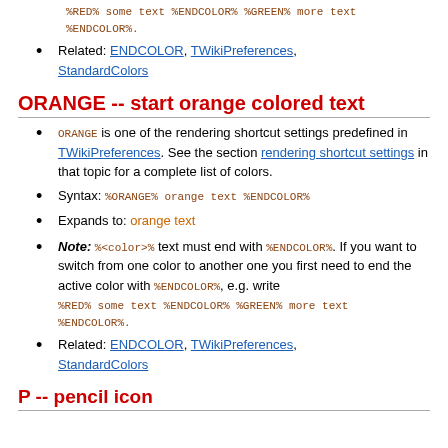%RED% some text %ENDCOLOR% %GREEN% more text %ENDCOLOR%.
Related: ENDCOLOR, TWikiPreferences, StandardColors
ORANGE -- start orange colored text
ORANGE is one of the rendering shortcut settings predefined in TWikiPreferences. See the section rendering shortcut settings in that topic for a complete list of colors.
Syntax: %ORANGE% orange text %ENDCOLOR%
Expands to: orange text
Note: %<color>% text must end with %ENDCOLOR%. If you want to switch from one color to another one you first need to end the active color with %ENDCOLOR%, e.g. write %RED% some text %ENDCOLOR% %GREEN% more text %ENDCOLOR%.
Related: ENDCOLOR, TWikiPreferences, StandardColors
P -- pencil icon